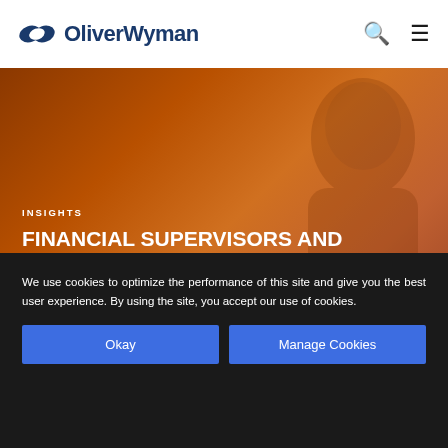OliverWyman
[Figure (photo): Hero image with orange-tinted photo of a woman looking upward, overlaid with text about Financial Supervisors and Gender Diversity]
INSIGHTS
FINANCIAL SUPERVISORS AND GENDER DIVERSITY
What financial supervisors think about gender diversity
We use cookies to optimize the performance of this site and give you the best user experience. By using the site, you accept our use of cookies.
Okay
Manage Cookies